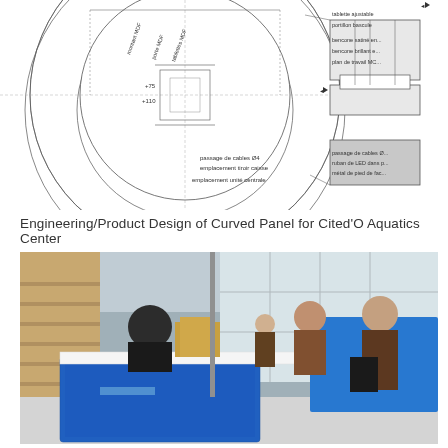[Figure (engineering-diagram): Architectural/engineering floor plan drawing of a curved panel structure for Cited'O Aquatics Center, showing circular curved counter/reception desk with MDF components, cable passages, LED strips, and section details with French annotations including 'montant MDF', 'porte MDF', 'tablette MDF', 'passage de cables', 'emplacement tiroir caisse', 'emplacement unite centrale', 'tablette ajustable', 'portillon bascule', 'bencone satine', 'bencone brillant', 'plan de travail MDF', 'ruban de LED dans pied de facade']
Engineering/Product Design of Curved Panel for Cited'O Aquatics Center
[Figure (photo): Interior photograph of Cited'O Aquatics Center showing a curved blue reception/ticket desk with textured blue panels, people standing at the counter, large windows in the background, wooden staircase on the left, and a man with a bag on the right side.]